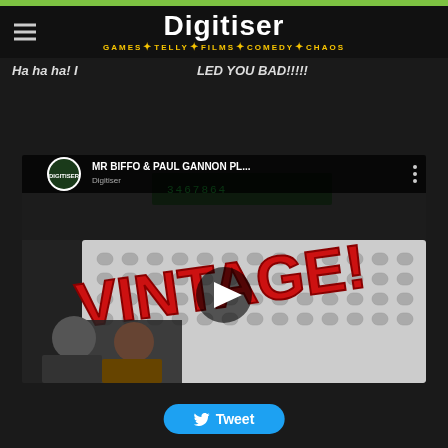Digitiser — GAMES · TELLY · FILMS · COMEDY · CHAOS
Ha ha ha! I LED YOU BAD!!!!!
[Figure (screenshot): YouTube video thumbnail showing MR BIFFO & PAUL GANNON PL... with VINTAGE! text overlay in red, showing two men and a retro calculator/keyboard device]
Tweet